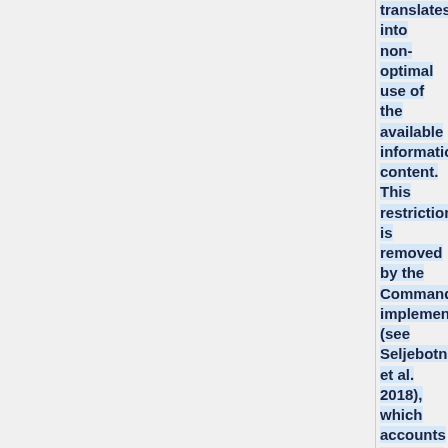translates into non-optimal use of the available information content. This restriction is removed by the Commander2 implementation (see Seljebotn et al. 2018), which accounts explicitly for the specific instrumental beam of each frequency channel. Furthermore, by processing the data at full angular resolution